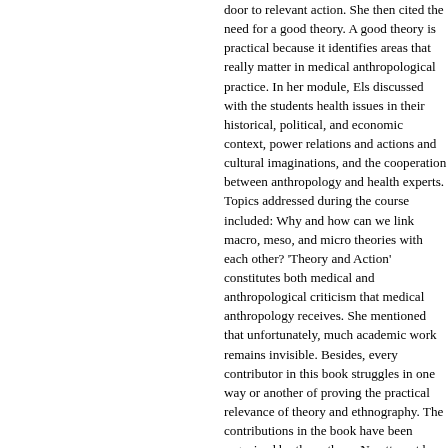door to relevant action. She then cited the need for a good theory. A good theory is practical because it identifies areas that really matter in medical anthropological practice. In her module, Els discussed with the students health issues in their historical, political, and economic context, power relations and actions and cultural imaginations, and the cooperation between anthropology and health experts. Topics addressed during the course included: Why and how can we link macro, meso, and micro theories with each other? 'Theory and Action' constitutes both medical and anthropological criticism that medical anthropology receives. She mentioned that unfortunately, much academic work remains invisible. Besides, every contributor in this book struggles in one way or another of proving the practical relevance of theory and ethnography. The contributions in the book have been organized by the authors. No attempt has been made to force unity. The book starts with a recent article on the magic of 'time' and it applies the two perspectives: of anthropology and of a poem. In between, 36 essays touch on a wide range of topics, paintings, drawings, and other illustrations. There is a set of paintings that expresses care in South Africa by Els's close friends, purposely, to pay tribute to Els's last work in Africa. Unfortunately, one medium of her anthropological work, creative writing is usually more effective in describing care and resilience than anthropological accounts. One example of this. We want to thank all those who made the possible: our editor Zoe Goldstein, the desktop editor Hanneke van der Linde, the Chair of Sociology and Anthropology, the Amsterdam Institute for Amsterdam Master's in Medical Anthropology and Sociology, Els and her partner Leo who at a later stage